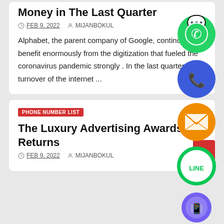Money in The Last Quarter
FEB 9, 2022   MIJANBOKUL
Alphabet, the parent company of Google, continues to benefit enormously from the digitization that fueled the coronavirus pandemic strongly . In the last quarter, the turnover of the internet ...
[Figure (infographic): Social share buttons overlay: WhatsApp (green), Phone (blue), Email (orange), LINE (green), Viber (purple), Close (green with X)]
PHONE NUMBER LIST
The Luxury Advertising Awards Returns
FEB 9, 2022   MIJANBOKUL